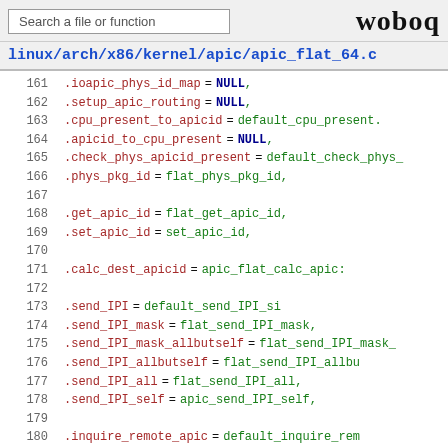Search a file or function | woboq
linux/arch/x86/kernel/apic/apic_flat_64.c
161   .ioapic_phys_id_map   = NULL,
162   .setup_apic_routing   = NULL,
163   .cpu_present_to_apicid   = default_cpu_present...
164   .apicid_to_cpu_present   = NULL,
165   .check_phys_apicid_present   = default_check_phys...
166   .phys_pkg_id   = flat_phys_pkg_id,
167
168   .get_apic_id   = flat_get_apic_id,
169   .set_apic_id   = set_apic_id,
170
171   .calc_dest_apicid   = apic_flat_calc_apic...
172
173   .send_IPI   = default_send_IPI_si...
174   .send_IPI_mask   = flat_send_IPI_mask,
175   .send_IPI_mask_allbutself   = flat_send_IPI_mask_...
176   .send_IPI_allbutself   = flat_send_IPI_allbu...
177   .send_IPI_all   = flat_send_IPI_all,
178   .send_IPI_self   = apic_send_IPI_self,
179
180   .inquire_remote_apic   = default_inquire_rem...
181
182   .read   = native_apic_mem_rea...
183   .write   = native_apic_mem_wri...
184   .eoi_write   = native_apic_mem_wri...
185   .icr_read   = native_apic_icr_rea...
186   .icr_write   = native_apic_icr_wri...